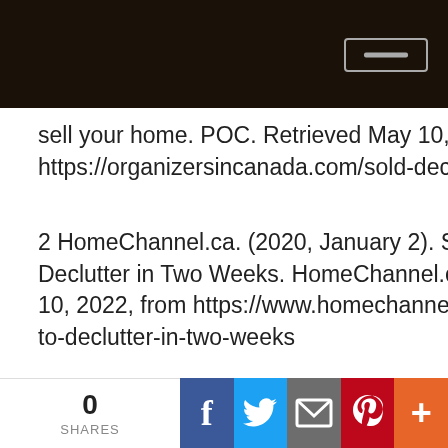[dark navigation bar with button]
sell your home. POC. Retrieved May 10, 2022, from https://organizersincanada.com/sold-decluttering-to-sell-your-home/
2 HomeChannel.ca. (2020, January 2). Selling a Home? How to Declutter in Two Weeks. HomeChannel.ca - News | Blog. Retrieved May 10, 2022, from https://www.homechannel.ca/news/selling-a-home-how-to-declutter-in-two-weeks
0 SHARES | Facebook | Twitter | Email | Pinterest | More